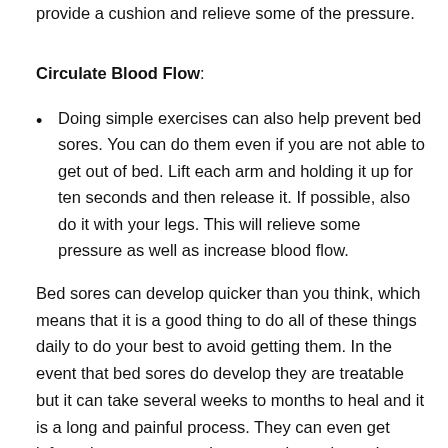provide a cushion and relieve some of the pressure.
Circulate Blood Flow:
Doing simple exercises can also help prevent bed sores. You can do them even if you are not able to get out of bed. Lift each arm and holding it up for ten seconds and then release it. If possible, also do it with your legs. This will relieve some pressure as well as increase blood flow.
Bed sores can develop quicker than you think, which means that it is a good thing to do all of these things daily to do your best to avoid getting them. In the event that bed sores do develop they are treatable but it can take several weeks to months to heal and it is a long and painful process. They can even get infected so proper care is extremely pertinent. In cases that they don't heal they can even